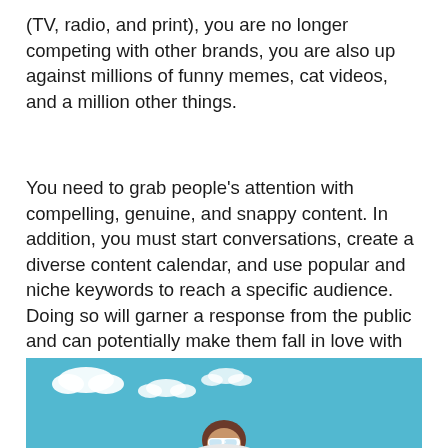(TV, radio, and print), you are no longer competing with other brands, you are also up against millions of funny memes, cat videos, and a million other things.
You need to grab people’s attention with compelling, genuine, and snappy content. In addition, you must start conversations, create a diverse content calendar, and use popular and niche keywords to reach a specific audience. Doing so will garner a response from the public and can potentially make them fall in love with your brand over time.
[Figure (photo): A person wearing white sunglasses photographed against a bright blue sky with white clouds.]